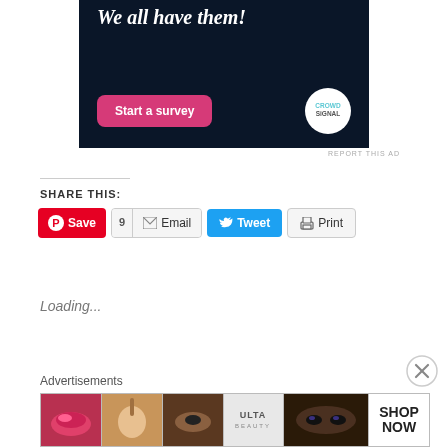[Figure (screenshot): Dark navy ad banner with 'We all have them!' italic heading, a pink 'Start a survey' button, and Crowdsignal circular white logo]
REPORT THIS AD
SHARE THIS:
[Figure (screenshot): Social sharing buttons: Pinterest Save (red), 9 Email (gray bordered), Tweet (blue), Print (gray bordered)]
Loading...
Advertisements
[Figure (photo): Horizontal advertisement strip showing makeup/beauty images with ULTA logo and SHOP NOW text]